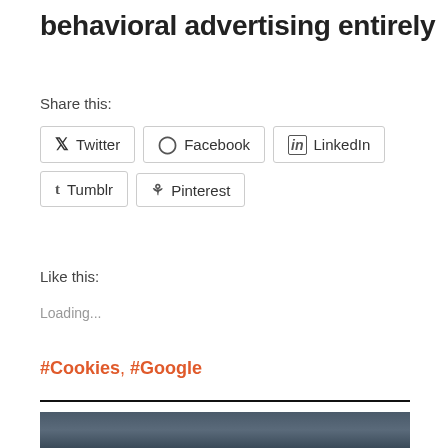behavioral advertising entirely
Share this:
Twitter
Facebook
LinkedIn
Tumblr
Pinterest
Like this:
Loading...
#Cookies, #Google
[Figure (photo): Dark blurry street scene with people and vehicles]